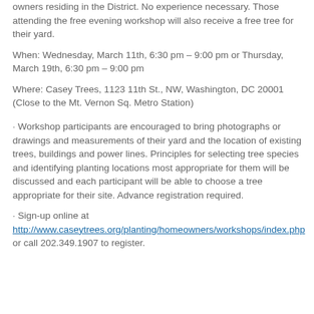owners residing in the District. No experience necessary. Those attending the free evening workshop will also receive a free tree for their yard.
When: Wednesday, March 11th, 6:30 pm – 9:00 pm or Thursday, March 19th, 6:30 pm – 9:00 pm
Where: Casey Trees, 1123 11th St., NW, Washington, DC 20001 (Close to the Mt. Vernon Sq. Metro Station)
· Workshop participants are encouraged to bring photographs or drawings and measurements of their yard and the location of existing trees, buildings and power lines. Principles for selecting tree species and identifying planting locations most appropriate for them will be discussed and each participant will be able to choose a tree appropriate for their site. Advance registration required.
· Sign-up online at http://www.caseytrees.org/planting/homeowners/workshops/index.php or call 202.349.1907 to register.